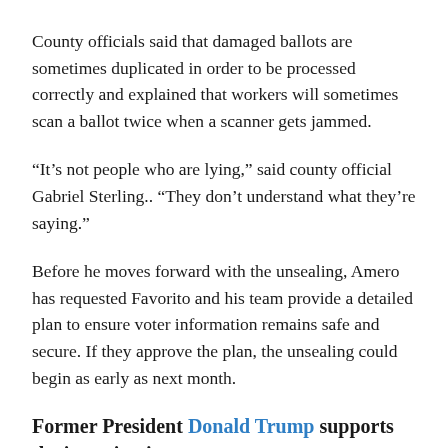County officials said that damaged ballots are sometimes duplicated in order to be processed correctly and explained that workers will sometimes scan a ballot twice when a scanner gets jammed.
“It’s not people who are lying,” said county official Gabriel Sterling.. “They don’t understand what they’re saying.”
Before he moves forward with the unsealing, Amero has requested Favorito and his team provide a detailed plan to ensure voter information remains safe and secure. If they approve the plan, the unsealing could begin as early as next month.
Former President Donald Trump supports the investigation.